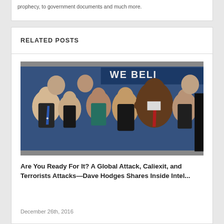prophecy, to government documents and much more.
RELATED POSTS
[Figure (photo): Group photo of several prominent political figures laughing together at an event, with a banner reading 'WE BELI' in the background.]
Are You Ready For It? A Global Attack, Caliexit, and Terrorists Attacks—Dave Hodges Shares Inside Intel...
December 26th, 2016